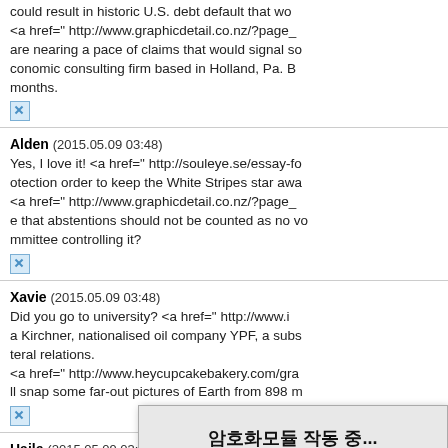could result in historic U.S. debt default that wo... <a href=" http://www.graphicdetail.co.nz/?page_... are nearing a pace of claims that would signal so... conomic consulting firm based in Holland, Pa. B... months.
Alden (2015.05.09 03:48)
Yes, I love it! <a href=" http://souleye.se/essay-fo... otection order to keep the White Stripes star awa... <a href=" http://www.graphicdetail.co.nz/?page_... e that abstentions should not be counted as no vo... mmittee controlling it?
Xavie (2015.05.09 03:48)
Did you go to university? <a href=" http://www.i... a Kirchner, nationalised oil company YPF, a subs... teral relations.
<a href=" http://www.heycupcakebakery.com/gra... ll snap some far-out pictures of Earth from 898 m...
Haile (2015.05.09 03:48)
Directory enquiries... veraldairy farms in... <a href=" http://mo... have sent out a clea... our guards member...
[Figure (screenshot): Korean language popup dialog with title '암호화모듈 작동 중...' (Encryption module running...), a striped progress bar, and button '클릭하면 바로 달힘' (Click to close immediately)]